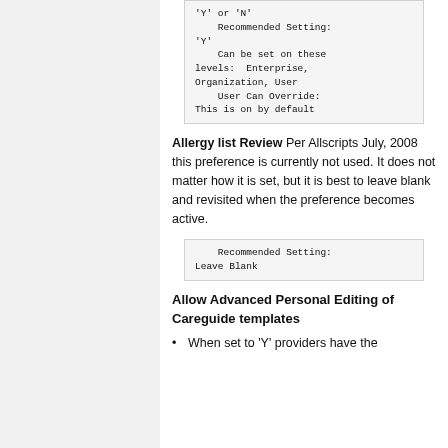'Y' or 'N'
    Recommended Setting: 'Y'
    Can be set on these levels:  Enterprise, Organization, User
    User Can Override: This is on by default
Allergy list Review Per Allscripts July, 2008 this preference is currently not used. It does not matter how it is set, but it is best to leave blank and revisited when the preference becomes active.
Recommended Setting: Leave Blank
Allow Advanced Personal Editing of Careguide templates
When set to 'Y' providers have the